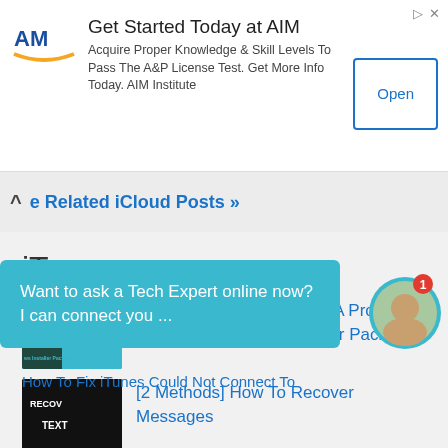[Figure (screenshot): AIM advertisement banner with logo, title 'Get Started Today at AIM', body text about A&P License Test, and an Open button]
Get Started Today at AIM
Acquire Proper Knowledge & Skill Levels To Pass The A&P License Test. Get More Info Today. AIM Institute
Open
e Related iCloud Posts »
iTunes
Fix iTunes Error “There Is A Problem With This Windows Installer Package”
[2 Methods] How To Recover Messages
Want to ask a Tech Expert online now? I can connect you ...
How To Fix iTunes Could Not Connect To